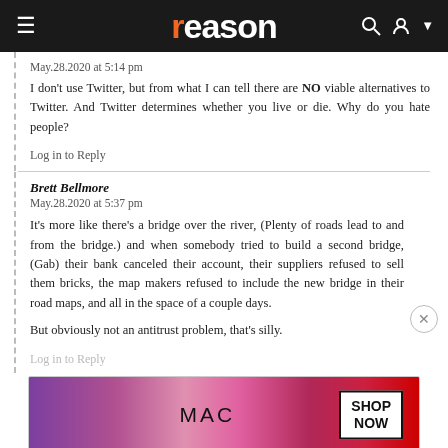reason
May.28.2020 at 5:14 pm
I don't use Twitter, but from what I can tell there are NO viable alternatives to Twitter. And Twitter determines whether you live or die. Why do you hate people?
Log in to Reply
Brett Bellmore
May.28.2020 at 5:37 pm
It's more like there's a bridge over the river, (Plenty of roads lead to and from the bridge.) and when somebody tried to build a second bridge, (Gab) their bank canceled their account, their suppliers refused to sell them bricks, the map makers refused to include the new bridge in their road maps, and all in the space of a couple days.
But obviously not an antitrust problem, that's silly.
Log in to Reply
[Figure (photo): MAC cosmetics advertisement banner showing colorful lipsticks with MAC logo and SHOP NOW button]